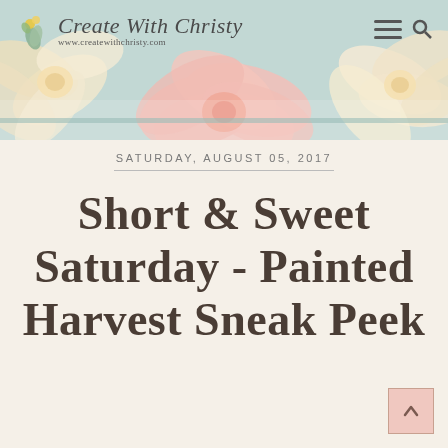[Figure (photo): Website header with soft pink and cream dahlia/chrysanthemum flowers on a light teal/mint background. Blog header image for Create With Christy.]
Create With Christy
www.createwithchristy.com
SATURDAY, AUGUST 05, 2017
Short & Sweet Saturday - Painted Harvest Sneak Peek